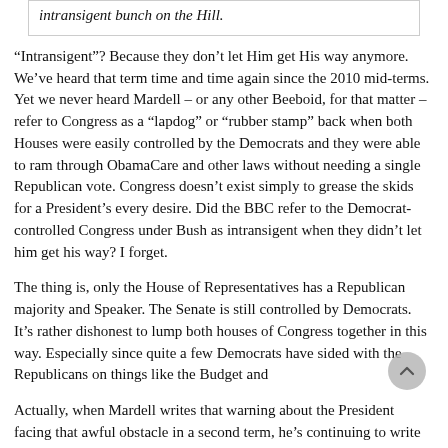[Figure (other): Quoted text box with italic text: 'intransigent bunch on the Hill.']
“Intransigent”? Because they don’t let Him get His way anymore. We’ve heard that term time and time again since the 2010 mid-terms. Yet we never heard Mardell – or any other Beeboid, for that matter – refer to Congress as a “lapdog” or “rubber stamp” back when both Houses were easily controlled by the Democrats and they were able to ram through ObamaCare and other laws without needing a single Republican vote. Congress doesn’t exist simply to grease the skids for a President’s every desire. Did the BBC refer to the Democrat-controlled Congress under Bush as intransigent when they didn’t let him get his way? I forget.
The thing is, only the House of Representatives has a Republican majority and Speaker. The Senate is still controlled by Democrats. It’s rather dishonest to lump both houses of Congress together in this way. Especially since quite a few Democrats have sided with the Republicans on things like the Budget and
Actually, when Mardell writes that warning about the President facing that awful obstacle in a second term, he’s continuing to write from writing from the perspective that His Plan is “absolutely right”, but He might not get His way and save the country.